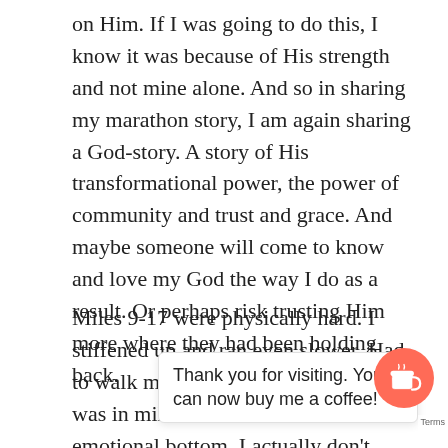on Him. If I was going to do this, I know it was because of His strength and not mine alone. And so in sharing my marathon story, I am again sharing a God-story. A story of His transformational power, the power of community and trust and grace. And maybe someone will come to know and love my God the way I do as a result. Or perhaps risk trusting Him more where they had been holding back.
Miles 9-17 were physically hard. I stiffened up and ran even slower. Had to walk more than I wanted. And it was in miles 15-17 that I hit an emotional bottom. I actually don't remember much of it. I zoned out and just lost will to really keep going. I kept telling myself, "Just keep running [... and] thought [... orribly]. But I fou[nd ... t fo]r Len". An[d ... ud li] was emotionally light and clear headed. And I began
Thank you for visiting. You can now buy me a coffee!